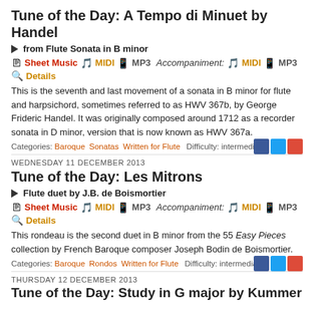Tune of the Day: A Tempo di Minuet by Handel
▶ from Flute Sonata in B minor
Sheet Music   MIDI   MP3   Accompaniment:   MIDI   MP3   Details
This is the seventh and last movement of a sonata in B minor for flute and harpsichord, sometimes referred to as HWV 367b, by George Frideric Handel. It was originally composed around 1712 as a recorder sonata in D minor, version that is now known as HWV 367a.
Categories: Baroque   Sonatas   Written for Flute   Difficulty: intermediate
WEDNESDAY 11 DECEMBER 2013
Tune of the Day: Les Mitrons
▶ Flute duet by J.B. de Boismortier
Sheet Music   MIDI   MP3   Accompaniment:   MIDI   MP3   Details
This rondeau is the second duet in B minor from the 55 Easy Pieces collection by French Baroque composer Joseph Bodin de Boismortier.
Categories: Baroque   Rondos   Written for Flute   Difficulty: intermediate
THURSDAY 12 DECEMBER 2013
Tune of the Day: Study in G major by Kummer